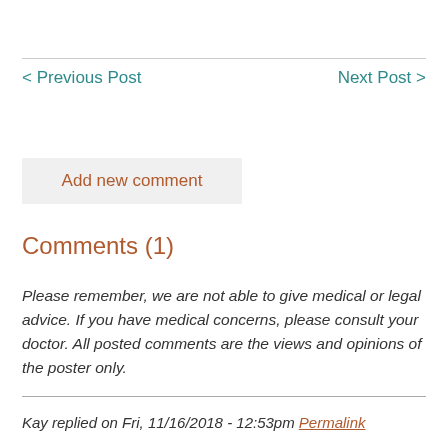< Previous Post
Next Post >
Add new comment
Comments (1)
Please remember, we are not able to give medical or legal advice. If you have medical concerns, please consult your doctor. All posted comments are the views and opinions of the poster only.
Kay replied on Fri, 11/16/2018 - 12:53pm Permalink